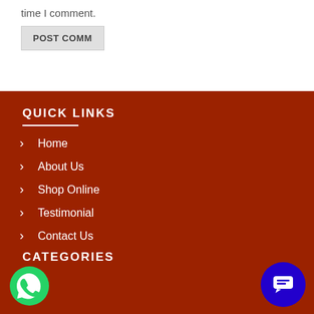time I comment.
POST COMM
QUICK LINKS
Home
About Us
Shop Online
Testimonial
Contact Us
CATEGORIES
[Figure (logo): WhatsApp icon button at bottom left]
[Figure (logo): Chat/message icon button at bottom right, blue circle]